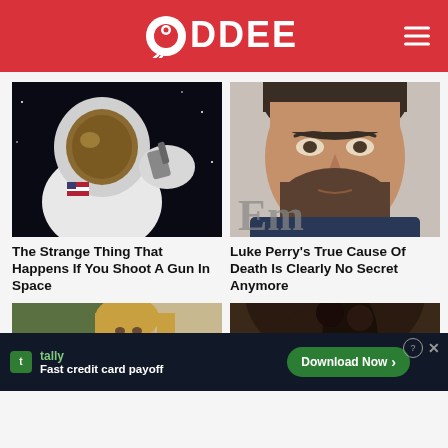ODDEE
[Figure (photo): Astronaut in white spacesuit holding a gun in space, with American flag patch visible on the suit]
[Figure (photo): Luke Perry, bearded man with dark hair, close-up portrait photo at an entertainment event]
The Strange Thing That Happens If You Shoot A Gun In Space
Luke Perry's True Cause Of Death Is Clearly No Secret Anymore
[Figure (photo): Partial image of a young woman with long blonde hair]
[Figure (photo): Partial close-up image of a person with curly dark hair]
[Figure (other): Tally advertisement banner: Fast credit card payoff - Download Now button]